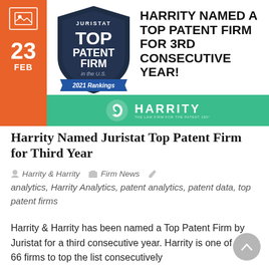[Figure (infographic): Juristat Top Patent Firm in the U.S. 2021 Rankings badge/shield logo with orange date sidebar showing 23 FEB, and Harrity logo on green bar. Headline: HARRITY NAMED A TOP PATENT FIRM FOR 3RD CONSECUTIVE YEAR!]
Harrity Named Juristat Top Patent Firm for Third Year
Harrity & Harrity   Firm News   analytics, Harrity Analytics, patent analytics, patent data, top patent firms
Harrity & Harrity has been named a Top Patent Firm by Juristat for a third consecutive year. Harrity is one of 66 firms to top the list consecutively